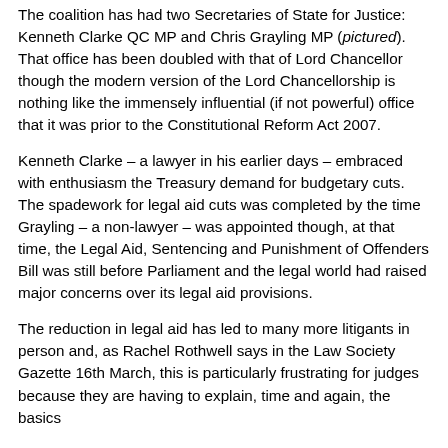The coalition has had two Secretaries of State for Justice: Kenneth Clarke QC MP and Chris Grayling MP (pictured). That office has been doubled with that of Lord Chancellor though the modern version of the Lord Chancellorship is nothing like the immensely influential (if not powerful) office that it was prior to the Constitutional Reform Act 2007.
Kenneth Clarke – a lawyer in his earlier days – embraced with enthusiasm the Treasury demand for budgetary cuts. The spadework for legal aid cuts was completed by the time Grayling – a non-lawyer – was appointed though, at that time, the Legal Aid, Sentencing and Punishment of Offenders Bill was still before Parliament and the legal world had raised major concerns over its legal aid provisions.
The reduction in legal aid has led to many more litigants in person and, as Rachel Rothwell says in the Law Society Gazette 16th March, this is particularly frustrating for judges because they are having to explain, time and again, the basics